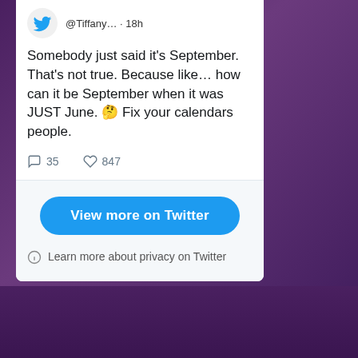[Figure (screenshot): Twitter bird logo icon in top left of tweet card]
@Tiffany… · 18h
Somebody just said it's September. That's not true. Because like… how can it be September when it was JUST June. 🤔 Fix your calendars people.
35  847
View more on Twitter
Learn more about privacy on Twitter